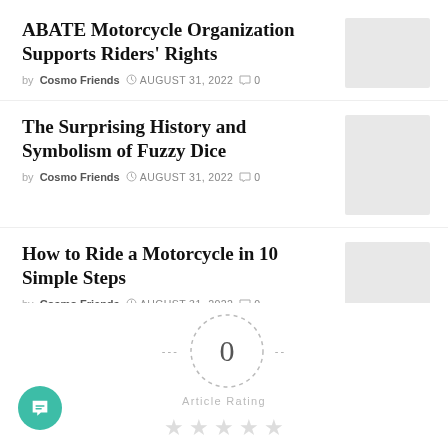ABATE Motorcycle Organization Supports Riders' Rights
by Cosmo Friends  AUGUST 31, 2022  0
[Figure (photo): Thumbnail image placeholder for ABATE article]
The Surprising History and Symbolism of Fuzzy Dice
by Cosmo Friends  AUGUST 31, 2022  0
[Figure (photo): Thumbnail image placeholder for Fuzzy Dice article]
How to Ride a Motorcycle in 10 Simple Steps
by Cosmo Friends  AUGUST 31, 2022  0
[Figure (photo): Thumbnail image placeholder for Motorcycle article]
0  Article Rating  ★ ★ ★ ★ ★